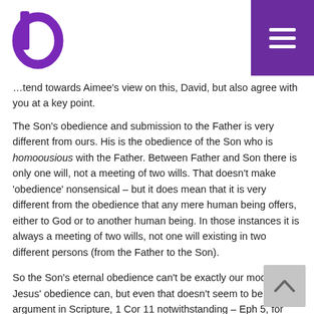d [logo] [hamburger menu]
…tend towards Aimee's view on this, David, but also agree with you at a key point.
The Son's obedience and submission to the Father is very different from ours. His is the obedience of the Son who is homoousious with the Father. Between Father and Son there is only one will, not a meeting of two wills. That doesn't make 'obedience' nonsensical – but it does mean that it is very different from the obedience that any mere human being offers, either to God or to another human being. In those instances it is always a meeting of two wills, not one will existing in two different persons (from the Father to the Son).
So the Son's eternal obedience can't be exactly our model. Jesus' obedience can, but even that doesn't seem to be a *big* argument in Scripture, 1 Cor 11 notwithstanding – Eph 5, for example, appeals to the example of Jesus as the example of the one in authority, not under it.
But, and here I think I agree with your 'consistency' point, egalitarians claim (like Giles does in the article, and Erickson that